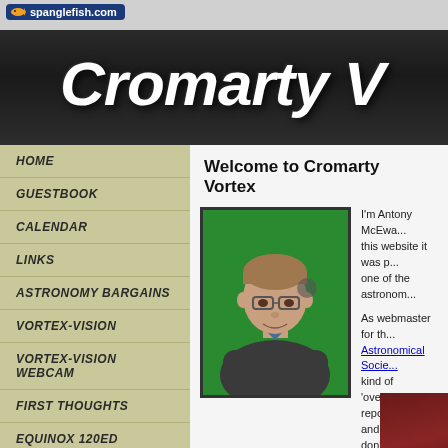spanglefish.com
Cromarty V
HOME
GUESTBOOK
CALENDAR
LINKS
ASTRONOMY BARGAINS
VORTEX-VISION
VORTEX-VISION WEBCAM
FIRST THOUGHTS
EQUINOX 120ED
TRIPLET APO 90MM
PROJECT HELIOS
Welcome to Cromarty Vortex
[Figure (photo): Portrait photo of Antony McEwan against a green background, wearing glasses and a grey sweater with arms crossed]
I'm Antony McEwa... this website it was p... one of the astronom... As webmaster for th... Astronomical Socie... kind of 'overflow' a... reports, images and... don't quite make it ... links page for more
[Figure (photo): Partial image at bottom with dark reddish background]